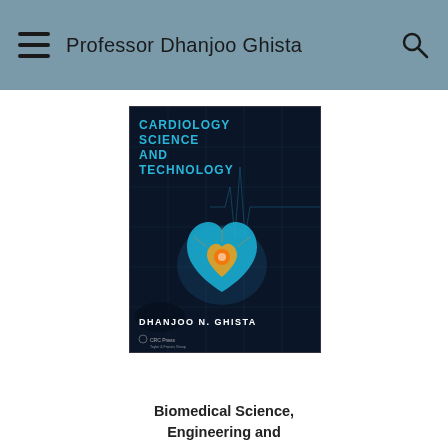Professor Dhanjoo Ghista
[Figure (illustration): Book cover of 'Cardiology Science and Technology' by Dhanjoo N. Ghista, published by CRC Press. Dark blue background with a glowing blue/orange heart illustration and ECG graph lines. The title is in bold cyan uppercase letters.]
Biomedical Science, Engineering and